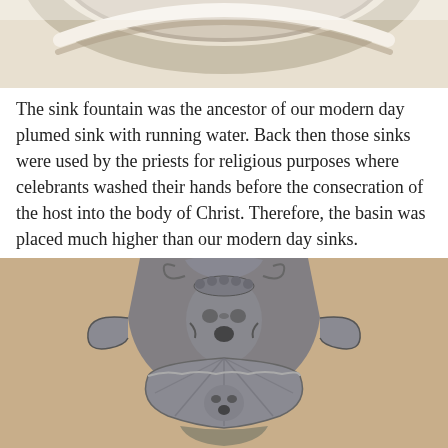[Figure (photo): Top portion of a stone fountain basin with curved rim, viewed from above, bright daylight setting.]
The sink fountain was the ancestor of our modern day plumed sink with running water. Back then those sinks were used by the priests for religious purposes where celebrants washed their hands before the consecration of the host into the body of Christ. Therefore, the basin was placed much higher than our modern day sinks.
[Figure (photo): An ornate stone wall-mounted sink fountain featuring a grotesque face mask at the top with scrollwork and a shell-shaped basin below, also decorated with a smaller face, set against a beige stone wall.]